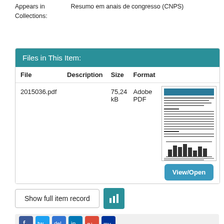Appears in Collections: Resumo em anais de congresso (CNPS)
Files in This Item:
| File | Description | Size | Format |  |
| --- | --- | --- | --- | --- |
| 2015036.pdf |  | 75,24 kB | Adobe PDF | [thumbnail] View/Open |
Show full item record
[Figure (other): Social media sharing icons: Facebook, Twitter, Delicious, LinkedIn, Google+, MySpace]